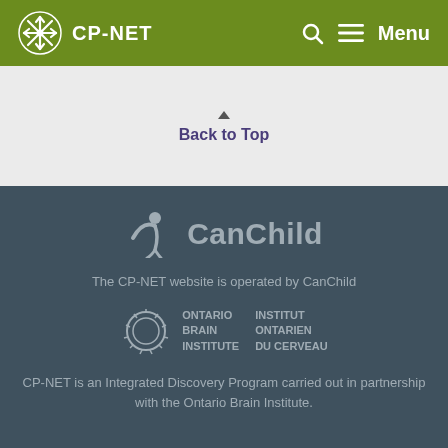CP-NET  Menu
Back to Top
[Figure (logo): CanChild logo with figure icon and text]
The CP-NET website is operated by CanChild
[Figure (logo): Ontario Brain Institute / Institut Ontarien du Cerveau logo]
CP-NET is an Integrated Discovery Program carried out in partnership with the Ontario Brain Institute.